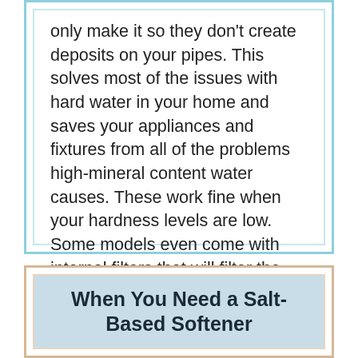only make it so they don't create deposits on your pipes. This solves most of the issues with hard water in your home and saves your appliances and fixtures from all of the problems high-mineral content water causes. These work fine when your hardness levels are low. Some models even come with internal filters that will filter the hardness minerals as it conditions your water.
When You Need a Salt-Based Softener
There are times when a saltless softener